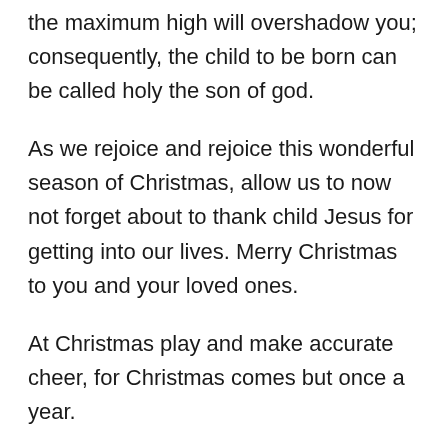the maximum high will overshadow you; consequently, the child to be born can be called holy the son of god.
As we rejoice and rejoice this wonderful season of Christmas, allow us to now not forget about to thank child Jesus for getting into our lives. Merry Christmas to you and your loved ones.
At Christmas play and make accurate cheer, for Christmas comes but once a year.